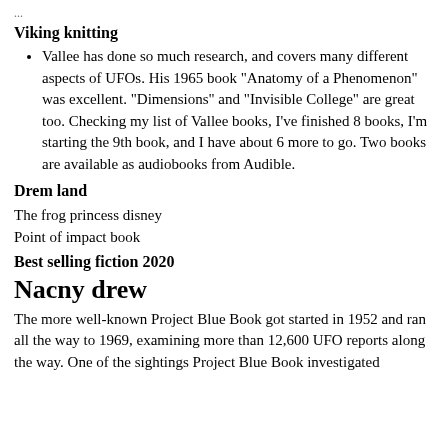Viking knitting
Vallee has done so much research, and covers many different aspects of UFOs. His 1965 book "Anatomy of a Phenomenon" was excellent. "Dimensions" and "Invisible College" are great too. Checking my list of Vallee books, I've finished 8 books, I'm starting the 9th book, and I have about 6 more to go. Two books are available as audiobooks from Audible.
Drem land
The frog princess disney
Point of impact book
Best selling fiction 2020
Nacny drew
The more well-known Project Blue Book got started in 1952 and ran all the way to 1969, examining more than 12,600 UFO reports along the way. One of the sightings Project Blue Book investigated